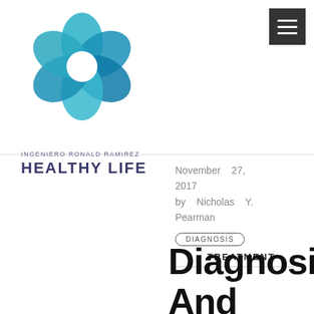[Figure (logo): Teal/blue flower-shaped logo made of overlapping petal shapes with a white center]
[Figure (other): Dark gray hamburger menu button with three white horizontal lines]
INGENIERO RONALD RAMIREZ
HEALTHY LIFE
November 27, 2017
by Nicholas Y. Pearman
DIAGNOSIS
TREATMENT
Diagnosis And Treatme...